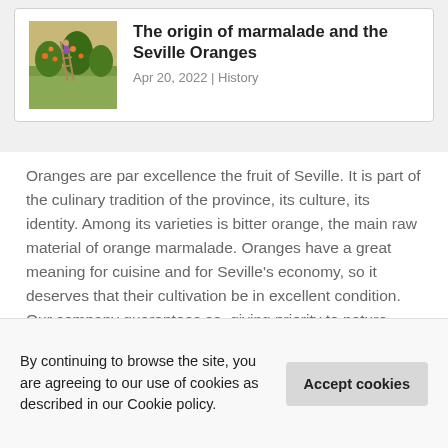[Figure (photo): Vintage illustration of orange harvest with ladders and trees]
The origin of marmalade and the Seville Oranges
Apr 20, 2022 | History
Oranges are par excellence the fruit of Seville. It is part of the culinary tradition of the province, its culture, its identity. Among its varieties is bitter orange, the main raw material of orange marmalade. Oranges have a great meaning for cuisine and for Seville's economy, so it deserves that their cultivation be in excellent condition. Our company guarantees so, giving priority to nature. And also defending the product, getting its
By continuing to browse the site, you are agreeing to our use of cookies as described in our Cookie policy.